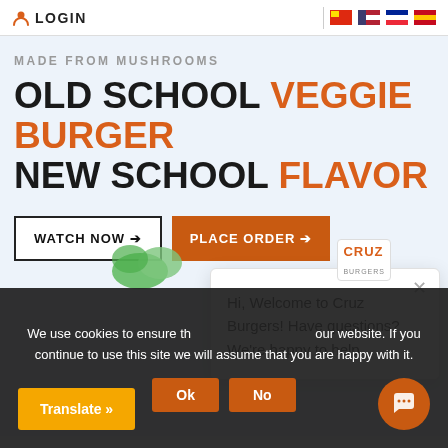LOGIN
MADE FROM MUSHROOMS
OLD SCHOOL VEGGIE BURGER NEW SCHOOL FLAVOR
WATCH NOW →
PLACE ORDER →
[Figure (screenshot): Cruz Burgers logo in chat popup]
Hi, Welcome to Cruz Burgers! Have questions? We're happy to help.
We use cookies to ensure the best experience on our website. If you continue to use this site we will assume that you are happy with it.
Ok
No
Translate »